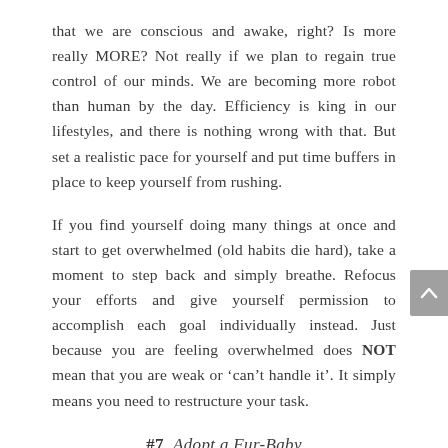that we are conscious and awake, right? Is more really MORE? Not really if we plan to regain true control of our minds. We are becoming more robot than human by the day. Efficiency is king in our lifestyles, and there is nothing wrong with that. But set a realistic pace for yourself and put time buffers in place to keep yourself from rushing.
If you find yourself doing many things at once and start to get overwhelmed (old habits die hard), take a moment to step back and simply breathe. Refocus your efforts and give yourself permission to accomplish each goal individually instead. Just because you are feeling overwhelmed does NOT mean that you are weak or ‘can’t handle it’. It simply means you need to restructure your task.
#7  Adopt a Fur-Baby
Okay, it’s no secret that pets can help us live longer, happier and fulfilling lives. It has been scientifically proven time and